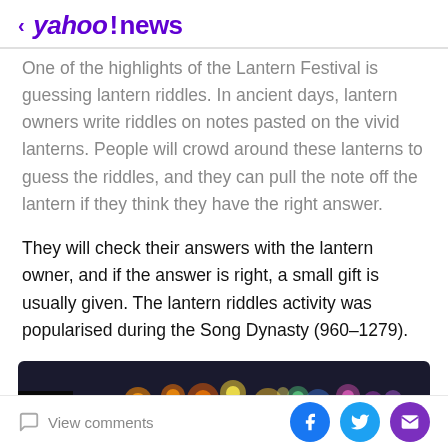< yahoo!news
One of the highlights of the Lantern Festival is guessing lantern riddles. In ancient days, lantern owners write riddles on notes pasted on the vivid lanterns. People will crowd around these lanterns to guess the riddles, and they can pull the note off the lantern if they think they have the right answer.
They will check their answers with the lantern owner, and if the answer is right, a small gift is usually given. The lantern riddles activity was popularised during the Song Dynasty (960–1279).
[Figure (photo): Night photo of colorful bokeh lights from lanterns reflected over water, with a person visible in left foreground]
View comments